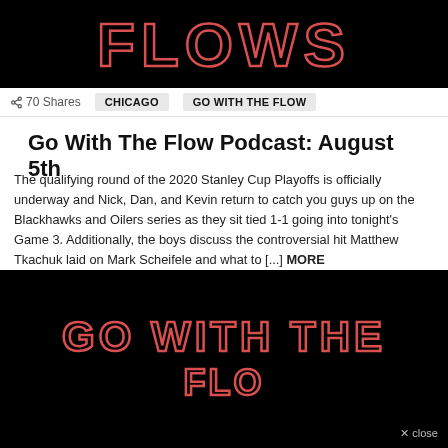[Figure (photo): Black background with 'FLOWS' text in red neon/outlined style lettering]
70 Shares   CHICAGO   GO WITH THE FLOW
Go With The Flow Podcast: August 5th
The qualifying round of the 2020 Stanley Cup Playoffs is officially underway and Nick, Dan, and Kevin return to catch you guys up on the Blackhawks and Oilers series as they sit tied 1-1 going into tonight's Game 3. Additionally, the boys discuss the controversial hit Matthew Tkachuk laid on Mark Scheifele and what to [...] MORE
by Kevin Bartman
2 years ago
[Figure (photo): Black background with 'GO WITH THE' text in red neon/outlined style lettering, partial view of bottom line]